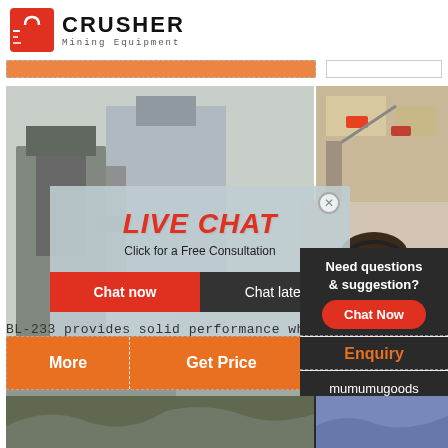[Figure (logo): Crusher Mining Equipment logo with red shopping bag icon and bold CRUSHER text]
[Figure (screenshot): Website screenshot showing mining equipment page with live chat popup overlay. Left image shows industrial crusher machinery. Right shows construction site aerial. Live chat popup says LIVE CHAT / Click for a Free Consultation with Chat now and Chat later buttons. Woman with headset on right side. 24Hrs Online banner in red.]
BL-233 provides solid performance when
More
Get Price
Email conta
24Hrs Online
LIVE CHAT
Click for a Free Consultation
Chat now
Chat later
Need questions & suggestion?
Chat Now
Enquiry
mumumugoods@gmail.com